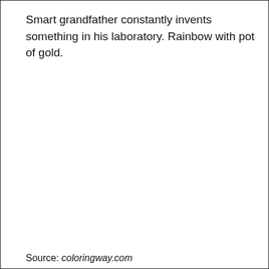Smart grandfather constantly invents something in his laboratory. Rainbow with pot of gold.
Source: coloringway.com